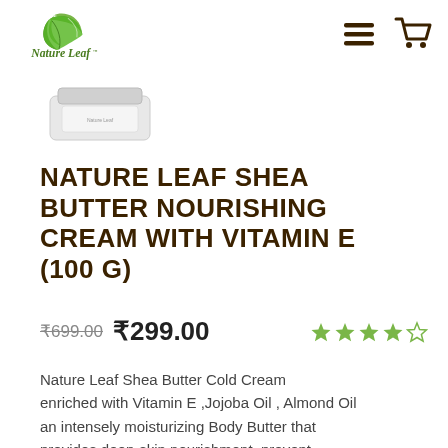[Figure (logo): Nature Leaf logo with green leaf icon and script text 'Nature Leaf™']
[Figure (photo): Product image of Nature Leaf Shea Butter cream jar, partially visible]
NATURE LEAF SHEA BUTTER NOURISHING CREAM WITH VITAMIN E (100 G)
₹699.00  ₹299.00  ★★★★☆
Nature Leaf Shea Butter Cold Cream enriched with Vitamin E ,Jojoba Oil , Almond Oil an intensely moisturizing Body Butter that provides deep-skin nourishment, prevent